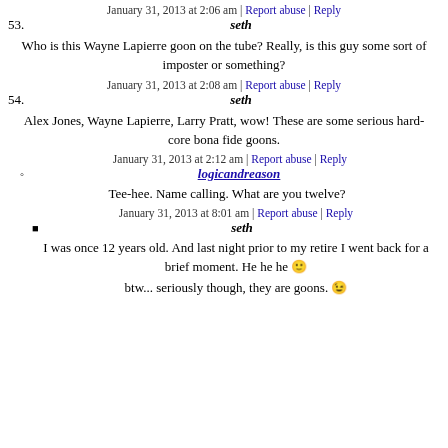January 31, 2013 at 2:06 am | Report abuse | Reply
53. seth
Who is this Wayne Lapierre goon on the tube? Really, is this guy some sort of imposter or something?
January 31, 2013 at 2:08 am | Report abuse | Reply
54. seth
Alex Jones, Wayne Lapierre, Larry Pratt, wow! These are some serious hard-core bona fide goons.
January 31, 2013 at 2:12 am | Report abuse | Reply
° logicandreason
Tee-hee. Name calling. What are you twelve?
January 31, 2013 at 8:01 am | Report abuse | Reply
■ seth
I was once 12 years old. And last night prior to my retire I went back for a brief moment. He he he 🙂
btw... seriously though, they are goons. 😉